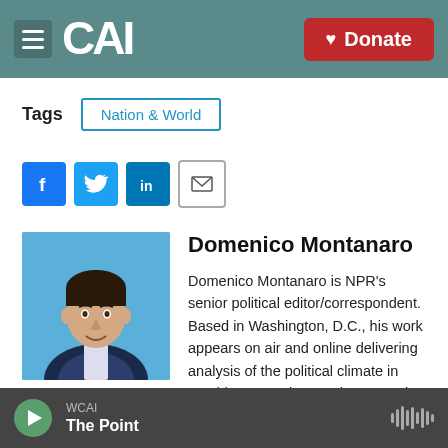CAI | Donate
Tags   Nation & World
[Figure (infographic): Social sharing icons: Facebook, Twitter, LinkedIn, Email]
[Figure (photo): Headshot photo of Domenico Montanaro against a blue background]
Domenico Montanaro
Domenico Montanaro is NPR's senior political editor/correspondent. Based in Washington, D.C., his work appears on air and online delivering analysis of the political climate in Washington and campaigns. He also helps edit political
WCAI  The Point